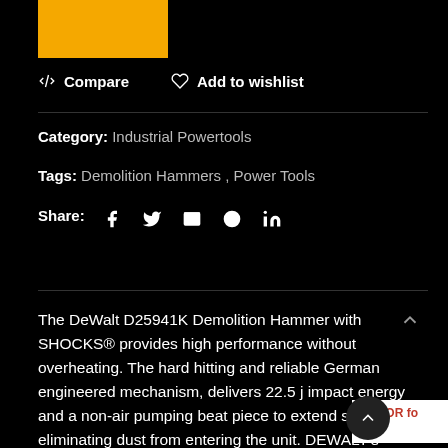[Figure (logo): Yellow/gold rectangular box (DeWalt brand color placeholder)]
Compare   Add to wishlist
Category: Industrial Powertools
Tags: Demolition Hammers , Power Tools
Share: (social icons: facebook, twitter, email, pinterest, linkedin)
The DeWalt D25941K Demolition Hammer with SHOCKS® provides high performance without overheating. The hard hitting and reliable German engineered mechanism, delivers 22.5 j impact energy and a non-air pumping beat piece to extend seal life by eliminating dust from entering the unit. DEWALT's